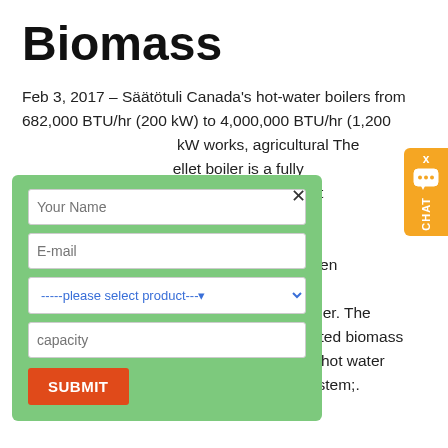Biomass
Feb 3, 2017 – Säätötuli Canada's hot-water boilers from 682,000 BTU/hr (200 kW) to 4,000,000 BTU/hr (1,200 kW works, agricultural The ellet boiler is a fully hat offers 87 per cent monitored and ing wood that has been wdust and then automatically fed into a burner using an auger. The development of Today, a number of automated biomass systems heat many small businesses and . hot water system with the hot water space heating system;.